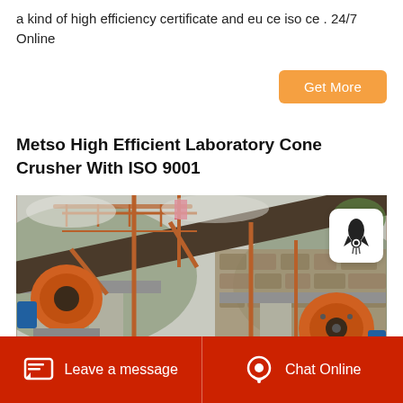a kind of high efficiency certificate and eu ce iso ce . 24/7 Online
Get More
Metso High Efficient Laboratory Cone Crusher With ISO 9001
[Figure (photo): Industrial cone crusher / jaw crusher machinery on a construction/mining site, showing large orange metal machinery with conveyor belt, steel scaffolding, and stone wall background.]
Leave a message    Chat Online